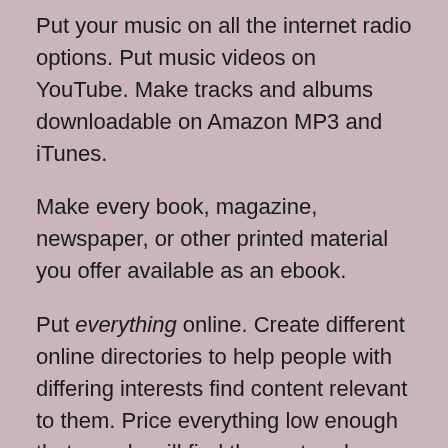Put your music on all the internet radio options. Put music videos on YouTube. Make tracks and albums downloadable on Amazon MP3 and iTunes.
Make every book, magazine, newspaper, or other printed material you offer available as an ebook.
Put everything online. Create different online directories to help people with differing interests find content relevant to them. Price everything low enough that people will find the cost and convenience just as good or better